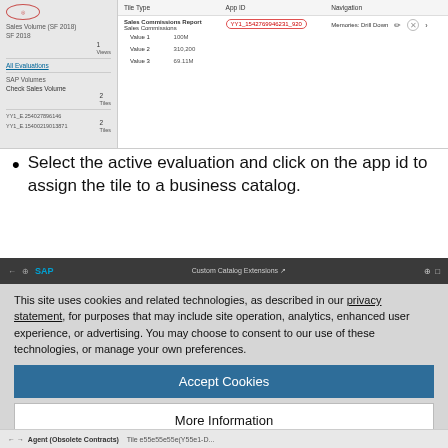[Figure (screenshot): SAP Fiori tile management screenshot showing left panel with Sales Volume entries and right panel with a table showing Tile Type, App ID (circled: YY1_1542769946231_920), and Navigation columns with Memories Drill Down option]
Select the active evaluation and click on the app id to assign the tile to a business catalog.
[Figure (screenshot): SAP Custom Catalog Extensions browser screenshot with cookie consent overlay showing Accept Cookies and More Information buttons, Privacy Policy and TrustArc branding]
This site uses cookies and related technologies, as described in our privacy statement, for purposes that may include site operation, analytics, enhanced user experience, or advertising. You may choose to consent to our use of these technologies, or manage your own preferences.
Accept Cookies
More Information
Privacy Policy | Powered by:  TrustArc